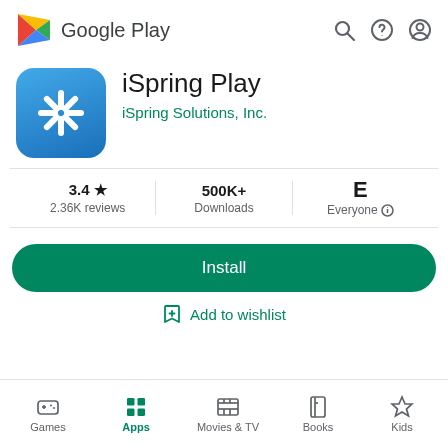[Figure (logo): Google Play logo with colorful triangle and text]
iSpring Play
iSpring Solutions, Inc.
3.4★ 2.36K reviews | 500K+ Downloads | E Everyone
Install
Add to wishlist
Games | Apps | Movies & TV | Books | Kids